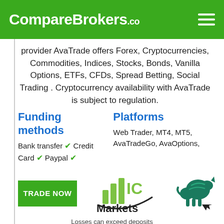CompareBrokers.co
provider AvaTrade offers Forex, Cryptocurrencies, Commodities, Indices, Stocks, Bonds, Vanilla Options, ETFs, CFDs, Spread Betting, Social Trading . Cryptocurrency availability with AvaTrade is subject to regulation.
Funding methods
Bank transfer ✓ Credit Card ✓ Paypal ✓
Platforms
Web Trader, MT4, MT5, AvaTradeGo, AvaOptions,
[Figure (logo): IC Markets logo with bar chart icon and text]
[Figure (logo): Green bull/animal logo (AvaTrade or broker logo)]
TRADE NOW
Losses can exceed deposits